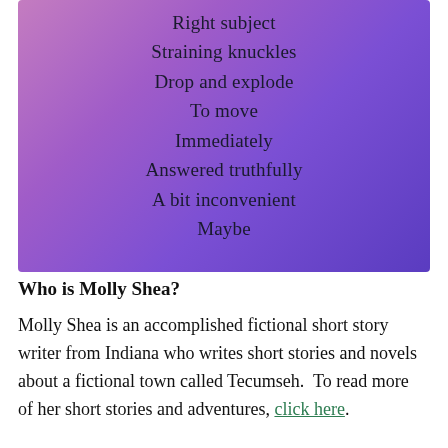[Figure (illustration): Gradient background (pink to purple) with poem lines centered in dark text]
Who is Molly Shea?
Molly Shea is an accomplished fictional short story writer from Indiana who writes short stories and novels about a fictional town called Tecumseh. To read more of her short stories and adventures, click here.